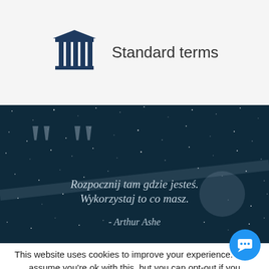Standard terms
[Figure (illustration): Dark blue starry night sky banner with large quotation marks and an italic quote in Polish: 'Rozpocznij tam gdzie jesteś. Wykorzystaj to co masz.' attributed to Arthur Ashe]
This website uses cookies to improve your experience. We'll assume you're ok with this, but you can opt-out if you
Accept